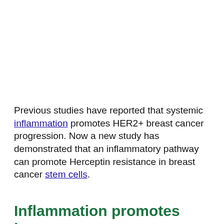Previous studies have reported that systemic inflammation promotes HER2+ breast cancer progression. Now a new study has demonstrated that an inflammatory pathway can promote Herceptin resistance in breast cancer stem cells.
Inflammation promotes breast cancer
Systemic inflammation involves the persistent activation of the immune system, resulting in the release of pro-inflammatory signaling molecules (from immune system-related cells) that are used in intercellular communication. In fact, activation of distorted inflammatory signaling is common in cancer. Systemic inflammation has been shown to promote breast cancer growth, invasion and metastasis. Inflammation, as measured by circulating C-reactive protein, has been found to reduce survival among breast